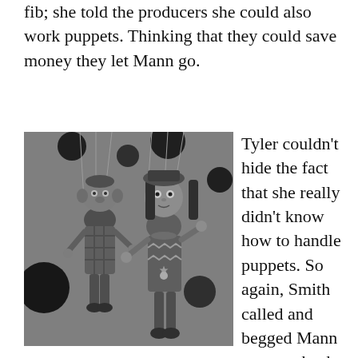fib; she told the producers she could also work puppets. Thinking that they could save money they let Mann go.
[Figure (photo): Black and white photograph of two marionette puppets — one resembling a monkey or gnome character in plaid clothing, and one resembling a girl doll in a decorative dress with braids. They are hanging by strings against a backdrop with large dark circular dots/spheres.]
Tyler couldn't hide the fact that she really didn't know how to handle puppets. So again, Smith called and begged Mann to come back,